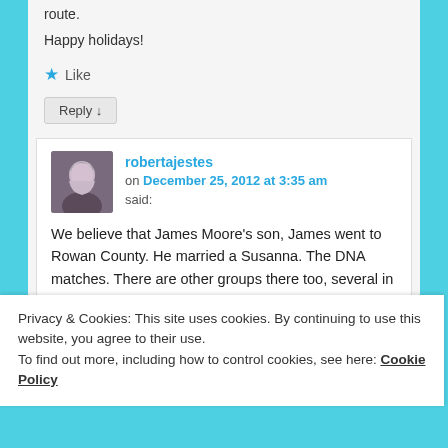route.
Happy holidays!
Like
Reply ↓
robertajestes on December 25, 2012 at 3:35 am said:
We believe that James Moore's son, James went to Rowan County. He married a Susanna. The DNA matches. There are other groups there too, several in fact, but
Privacy & Cookies: This site uses cookies. By continuing to use this website, you agree to their use.
To find out more, including how to control cookies, see here: Cookie Policy
Close and accept